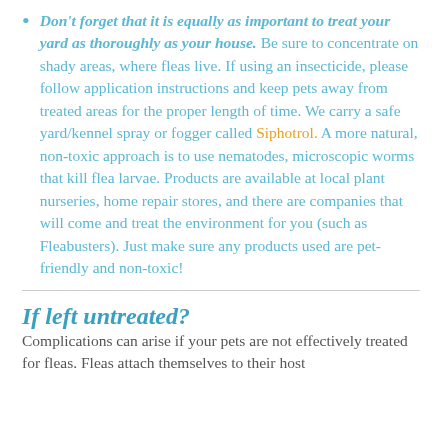Don't forget that it is equally as important to treat your yard as thoroughly as your house. Be sure to concentrate on shady areas, where fleas live. If using an insecticide, please follow application instructions and keep pets away from treated areas for the proper length of time. We carry a safe yard/kennel spray or fogger called Siphotrol. A more natural, non-toxic approach is to use nematodes, microscopic worms that kill flea larvae. Products are available at local plant nurseries, home repair stores, and there are companies that will come and treat the environment for you (such as Fleabusters). Just make sure any products used are pet-friendly and non-toxic!
If left untreated?
Complications can arise if your pets are not effectively treated for fleas. Fleas attach themselves to their host